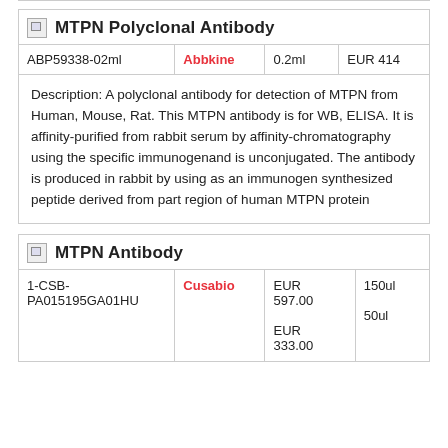MTPN Polyclonal Antibody
|  | Supplier | Volume | Price |
| --- | --- | --- | --- |
| ABP59338-02ml | Abbkine | 0.2ml | EUR 414 |
Description: A polyclonal antibody for detection of MTPN from Human, Mouse, Rat. This MTPN antibody is for WB, ELISA. It is affinity-purified from rabbit serum by affinity-chromatography using the specific immunogenand is unconjugated. The antibody is produced in rabbit by using as an immunogen synthesized peptide derived from part region of human MTPN protein
MTPN Antibody
|  | Supplier | Price | Volume |
| --- | --- | --- | --- |
| 1-CSB-PA015195GA01HU | Cusabio | EUR 597.00
EUR 333.00 | 150ul
50ul |